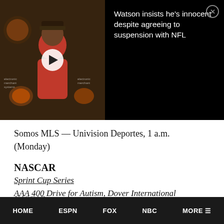[Figure (screenshot): Video thumbnail of a man in a red hoodie at what appears to be a press conference with Cleveland Browns backdrop logos]
Watson insists he's innocent despite agreeing to suspension with NFL
Somos MLS — Univision Deportes, 1 a.m. (Monday)
NASCAR
Sprint Cup Series
AAA 400 Drive for Autism, Dover International Speedway, Dover, DE
Race — FS1, 1 p.m.
HOME   ESPN   FOX   NBC   MORE